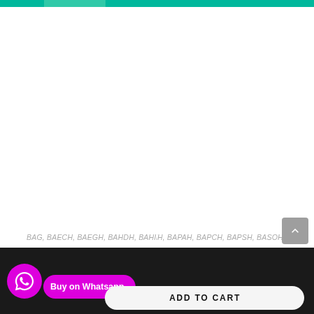BAG, BAECH, BAEGH, BAHDH, BAHIH, BAPAH, BAPCH, BAPSH, BASOH
BPAS-184 LOGISTICS MANAGEMENT in English Solved Assignment 2021-2022